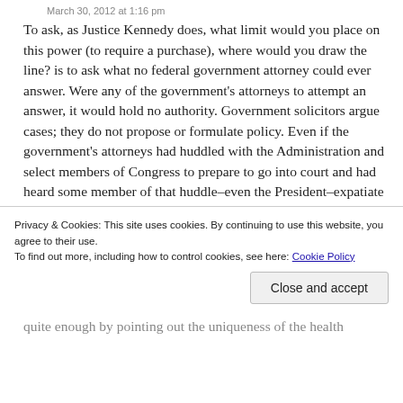March 30, 2012 at 1:16 pm
To ask, as Justice Kennedy does, what limit would you place on this power (to require a purchase), where would you draw the line? is to ask what no federal government attorney could ever answer. Were any of the government's attorneys to attempt an answer, it would hold no authority. Government solicitors argue cases; they do not propose or formulate policy. Even if the government's attorneys had huddled with the Administration and select members of Congress to prepare to go into court and had heard some member of that huddle–even the President–expatiate on theoretical limits of requiring people to purchase something, that would be conjecture. It would be only a hypothesis where the power might be taken by a future law
Privacy & Cookies: This site uses cookies. By continuing to use this website, you agree to their use.
To find out more, including how to control cookies, see here: Cookie Policy
quite enough by pointing out the uniqueness of the health